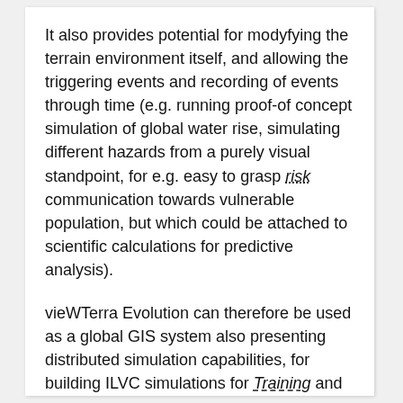It also provides potential for modyfying the terrain environment itself, and allowing the triggering events and recording of events through time (e.g. running proof-of concept simulation of global water rise, simulating different hazards from a purely visual standpoint, for e.g. easy to grasp risk communication towards vulnerable population, but which could be attached to scientific calculations for predictive analysis).
vieWTerra Evolution can therefore be used as a global GIS system also presenting distributed simulation capabilities, for building ILVC simulations for Training and Exercise building purposes or implemented in C4ISR systems. It can be either used perfectly off-line (on PC, laptops or Windows